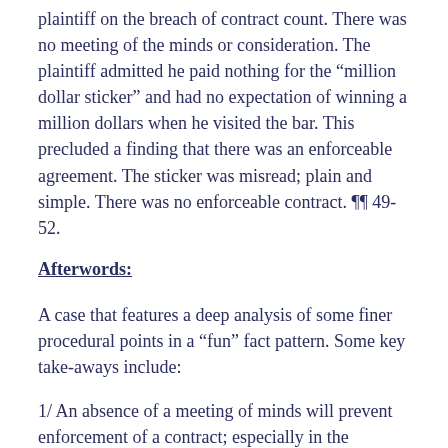plaintiff on the breach of contract count. There was no meeting of the minds or consideration. The plaintiff admitted he paid nothing for the “million dollar sticker” and had no expectation of winning a million dollars when he visited the bar. This precluded a finding that there was an enforceable agreement. The sticker was misread; plain and simple. There was no enforceable contract. ¶¶ 49-52.
Afterwords:
A case that features a deep analysis of some finer procedural points in a “fun” fact pattern. Some key take-aways include:
1/ An absence of a meeting of minds will prevent enforcement of a contract; especially in the promotional setting;